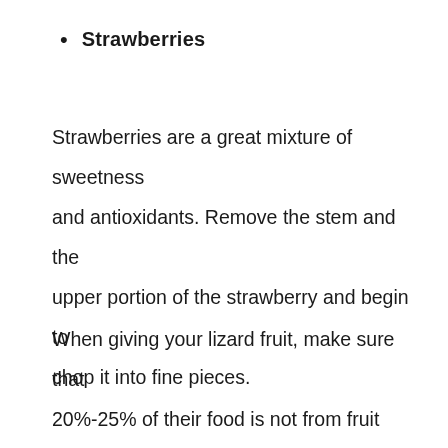Strawberries
Strawberries are a great mixture of sweetness and antioxidants. Remove the stem and the upper portion of the strawberry and begin to chop it into fine pieces.
When giving your lizard fruit, make sure that 20%-25% of their food is not from fruit sources. While you can add fruit to your lizard salad, never